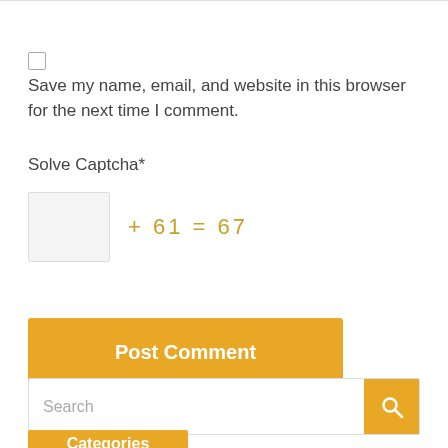Save my name, email, and website in this browser for the next time I comment.
Solve Captcha*
[Figure (other): Captcha widget with input box and math equation: + 61 = 67]
Post Comment
Search
Categories